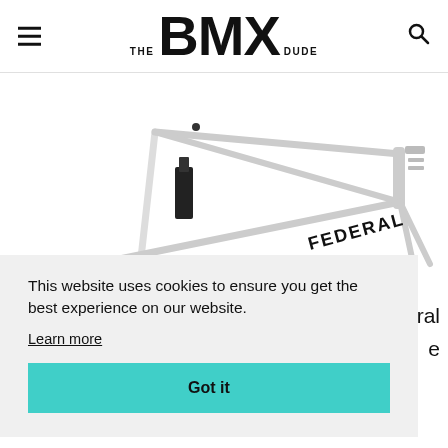THE BMX DUDE
[Figure (photo): White Federal BMX bike frame on white background, shown at an angle with 'FEDERAL' branding visible on the top tube.]
This website uses cookies to ensure you get the best experience on our website.
Learn more
Got it
...deral
...e